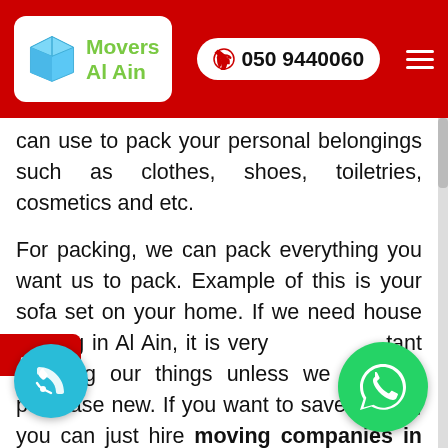[Figure (logo): Movers Al Ain logo with blue box icon and green text, inside white rounded rectangle on red header bar]
can use to pack your personal belongings such as clothes, shoes, toiletries, cosmetics and etc.

For packing, we can pack everything you want us to pack. Example of this is your sofa set on your home. If we need house shifting in Al Ain, it is very important to bring our things unless we want to purchase new. If you want to save money, you can just hire moving companies in Al Ain for transporting your house items in anytime that is convenient to you. For the sofa set, we will pack it in proper way and fast so that you can reach your home without any hassle at all. In the house shifting in Al Ain, we will use our very own